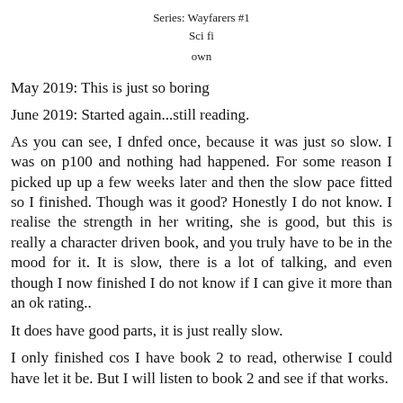Series: Wayfarers #1
Sci fi
own
May 2019: This is just so boring
June 2019: Started again...still reading.
As you can see, I dnfed once, because it was just so slow. I was on p100 and nothing had happened. For some reason I picked up up a few weeks later and then the slow pace fitted so I finished. Though was it good? Honestly I do not know. I realise the strength in her writing, she is good, but this is really a character driven book, and you truly have to be in the mood for it. It is slow, there is a lot of talking, and even though I now finished I do not know if I can give it more than an ok rating..
It does have good parts, it is just really slow.
I only finished cos I have book 2 to read, otherwise I could have let it be. But I will listen to book 2 and see if that works.